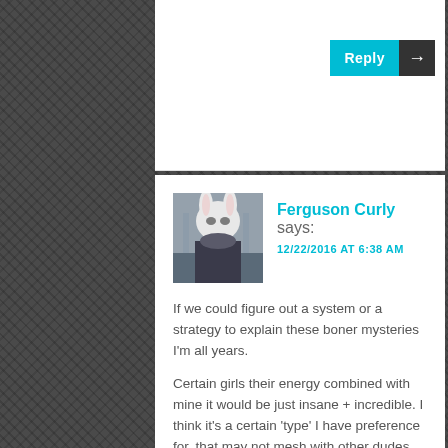[Figure (screenshot): Reply button with cyan background and dark arrow button]
[Figure (photo): Avatar photo of a person/animal with bunny ears or mask in an indoor setting]
Ferguson Curly says:
12/22/2016 AT 6:38 AM
If we could figure out a system or a strategy to explain these boner mysteries I'm all years.
Certain girls their energy combined with mine it would be just insane + incredible. I think it's a certain 'type' I have preference for, that may not mesh with other dudes. Sometimes we would fuck twice, then go out for dinner or drinks and as we arrive at the bar my cock is rock hard again